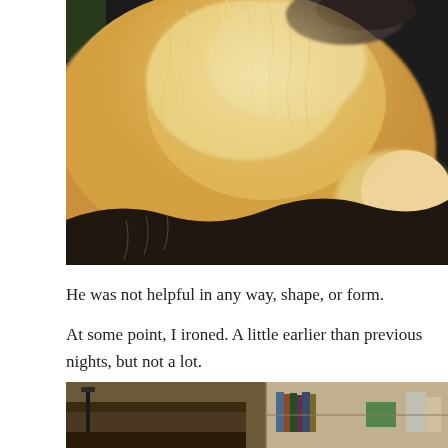[Figure (photo): Close-up photograph of a fluffy golden/cream colored dog (appears to be a Golden Retriever or similar breed), showing the dog's fur, neck and partial head against a dark background.]
He was not helpful in any way, shape, or form.
At some point, I ironed. A little earlier than previous nights, but not a lot.
[Figure (photo): Partial photograph showing what appears to be a room with an ironing board or desk, books/shelves, and various household items.]